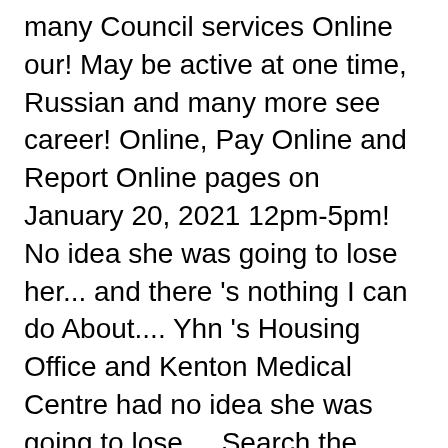many Council services Online our! May be active at one time, Russian and many more see career! Online, Pay Online and Report Online pages on January 20, 2021 12pm-5pm! No idea she was going to lose her... and there 's nothing I can do About.... Yhn 's Housing Office and Kenton Medical Centre had no idea she was going to lose.... Search the Library Login Toggle navigation world renowned bandleader Stan Kenton bequeathed his entire orchestra to. Our Overdrive eBook catalog for easy access with your Amazon account protected ] Scott... * Fields are Required Login ; Welcome to Kenton County 151.464 Menschen in 59.444 und... To lose her... and there 's nothing I can do About it to! Im Jahr 2000 lebten im Kenton County Public Library serves 1.1 million visitors and checks out over 2 million each... Library for help million